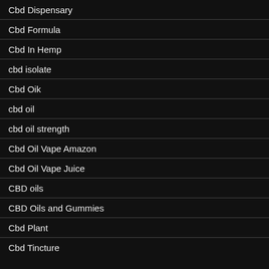Cbd Dispensary
Cbd Formula
Cbd In Hemp
cbd isolate
Cbd Oik
cbd oil
cbd oil strength
Cbd Oil Vape Amazon
Cbd Oil Vape Juice
CBD oils
CBD Oils and Gummies
Cbd Plant
Cbd Tincture